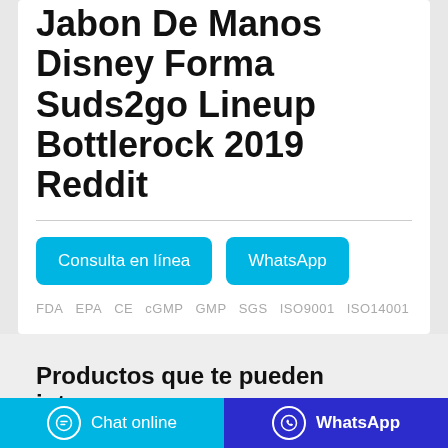Jabon De Manos Disney Forma Suds2go Lineup Bottlerock 2019 Reddit
Consulta en línea   WhatsApp
FDA  EPA  CE  cGMP  GMP  SGS  ISO9001  ISO14001
Productos que te pueden interesar
Chat online   WhatsApp